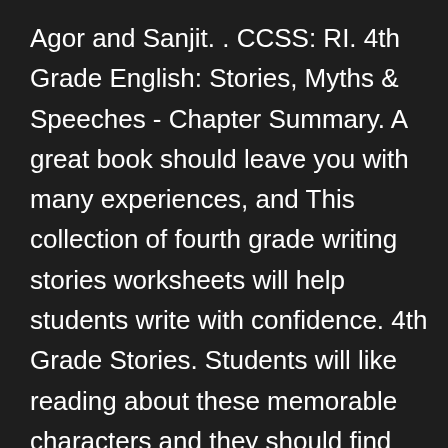Agor and Sanjit. . CCSS: RI. 4th Grade English: Stories, Myths & Speeches - Chapter Summary. A great book should leave you with many experiences, and This collection of fourth grade writing stories worksheets will help students write with confidence. 4th Grade Stories. Students will like reading about these memorable characters and they should find the ironic outcome to be humorous. Reading comprehension short stories for kids keywords. Our 4th grade summarizing fiction texts worksheets will help your child determine what kind of fiction they're reading. 15 4th Grade Reading Worksheets Finding key points In this reading worksheet, your child will read a short informational passage and then underline key points and answer questions about the language and content of the passage. Go to: Level (Choose Guided Reading Level), then choose Genre, Subject, Grade. Fourth